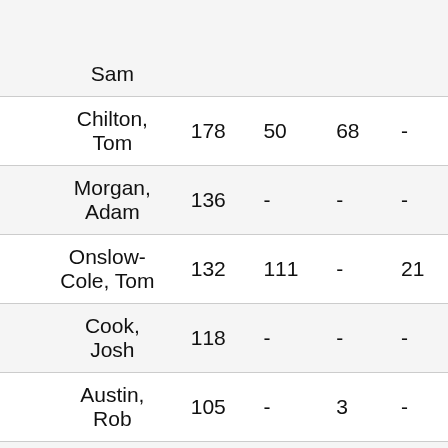| Name | Col1 | Col2 | Col3 | Col4 |
| --- | --- | --- | --- | --- |
| Sam |  |  |  |  |
| Chilton, Tom | 178 | 50 | 68 | - |
| Morgan, Adam | 136 | - | - | - |
| Onslow-Cole, Tom | 132 | 111 | - | 21 |
| Cook, Josh | 118 | - | - | - |
| Austin, Rob | 105 | - | 3 | - |
| Goff, Jack | 98 | - | - | - |
| Moffat, ... | 71 | - | - | - |